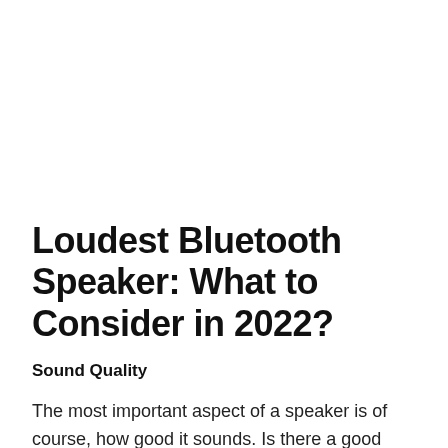Loudest Bluetooth Speaker: What to Consider in 2022?
Sound Quality
The most important aspect of a speaker is of course, how good it sounds. Is there a good range of highs and lows? Do the mids come through well or is the bass overpowering? Ho…